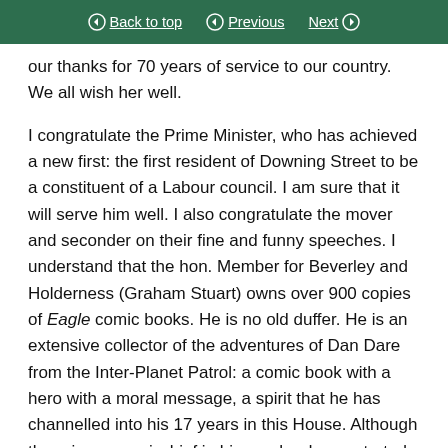Back to top | Previous | Next
our thanks for 70 years of service to our country. We all wish her well.
I congratulate the Prime Minister, who has achieved a new first: the first resident of Downing Street to be a constituent of a Labour council. I am sure that it will serve him well. I also congratulate the mover and seconder on their fine and funny speeches. I understand that the hon. Member for Beverley and Holderness (Graham Stuart) owns over 900 copies of Eagle comic books. He is no old duffer. He is an extensive collector of the adventures of Dan Dare from the Inter-Planet Patrol: a comic book with a hero with a moral message, a spirit that he has channelled into his 17 years in this House. Although there is some mischief in him, as he demonstrated in